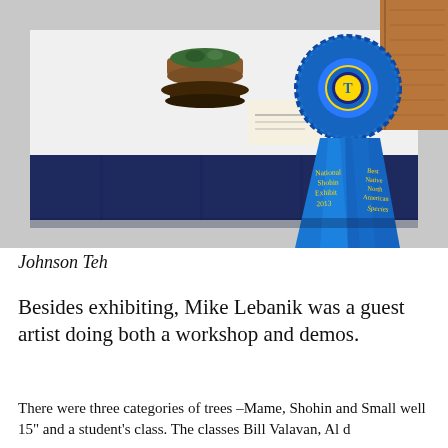[Figure (photo): A bonsai tree in a clay pot on a decorative stand, displayed on a white tablecloth on a table with a navy blue skirting. Two blue award ribbons are prominently displayed in the foreground — one reading 'National Shohin Exhibit 2013' and another reading 'Best Native North American Species'. A card/label is visible on the table near the bonsai.]
Johnson Teh
Besides exhibiting, Mike Lebanik was a guest artist doing both a workshop and demos.
There were three categories of trees –Mame, Shohin and Small well 15" and a student's class. The classes Bill Valavan, Al d...